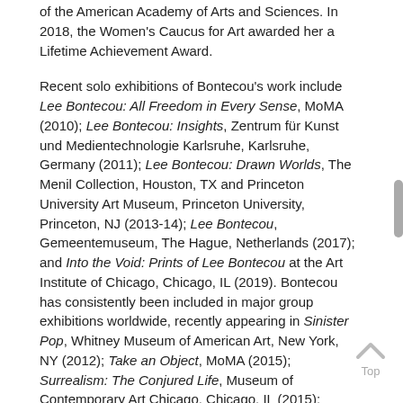of the American Academy of Arts and Sciences. In 2018, the Women's Caucus for Art awarded her a Lifetime Achievement Award.
Recent solo exhibitions of Bontecou's work include Lee Bontecou: All Freedom in Every Sense, MoMA (2010); Lee Bontecou: Insights, Zentrum für Kunst und Medientechnologie Karlsruhe, Karlsruhe, Germany (2011); Lee Bontecou: Drawn Worlds, The Menil Collection, Houston, TX and Princeton University Art Museum, Princeton University, Princeton, NJ (2013-14); Lee Bontecou, Gemeentemuseum, The Hague, Netherlands (2017); and Into the Void: Prints of Lee Bontecou at the Art Institute of Chicago, Chicago, IL (2019). Bontecou has consistently been included in major group exhibitions worldwide, recently appearing in Sinister Pop, Whitney Museum of American Art, New York, NY (2012); Take an Object, MoMA (2015); Surrealism: The Conjured Life, Museum of Contemporary Art Chicago, Chicago, IL (2015); America Is Hard To See, Whitney Museum, New York, NY (2015); The Great Graphic Boom: Amerikansk grafikk 1960-1990, Nasjonalmuseet, Oslo, Norway and Staatsgalerie Stuttgart, Stuttgart, Germany (2017); Making Space: Women Artists and Postwar Abstraction, MoMA (2017).
Bontecou is represented in numerous museum collections worldwide, including Albright-Knox Art Gallery (Buffalo, NY); Fine Arts Museum of San